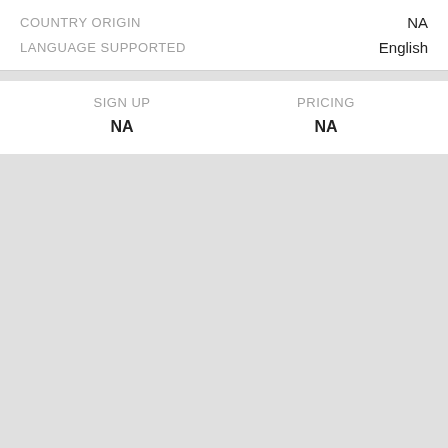|  |  |
| --- | --- |
| COUNTRY ORIGIN | NA |
| LANGUAGE SUPPORTED | English |
| SIGN UP | PRICING |
| --- | --- |
| NA | NA |